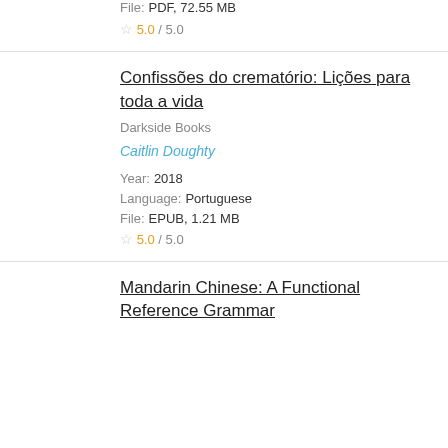File: PDF, 72.55 MB
5.0 / 5.0
Confissões do crematório: Lições para toda a vida
Darkside Books
Caitlin Doughty
Year: 2018
Language: Portuguese
File: EPUB, 1.21 MB
5.0 / 5.0
Mandarin Chinese: A Functional Reference Grammar